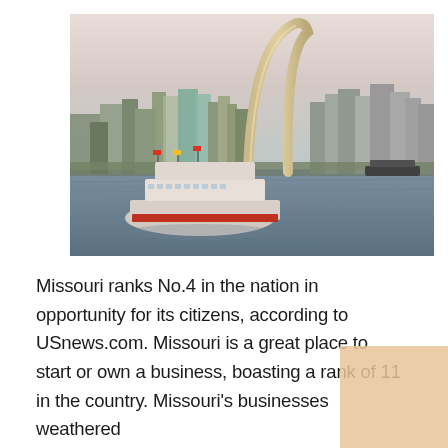[Figure (photo): Photo of the Gateway Arch in St. Louis, Missouri, viewed from across the Mississippi River. A riverboat (paddlewheel steamboat with white and red hull) is visible in the foreground on the river. The St. Louis city skyline with multiple buildings is visible in the background under a pale, hazy sky.]
Missouri ranks No.4 in the nation in opportunity for its citizens, according to USnews.com. Missouri is a great place to start or own a business, boasting a rank of 11 in the country. Missouri's businesses weathered